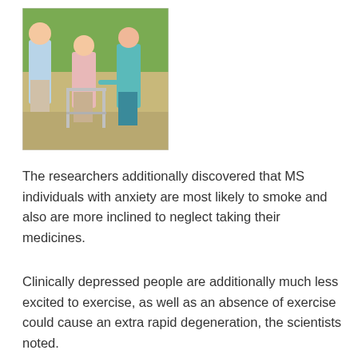[Figure (photo): Photo of an elderly woman using a walker, assisted by two people (a man in blue shirt and a woman in teal top), outdoors with green foliage in the background.]
The researchers additionally discovered that MS individuals with anxiety are most likely to smoke and also are more inclined to neglect taking their medicines.
Clinically depressed people are additionally much less excited to exercise, as well as an absence of exercise could cause an extra rapid degeneration, the scientists noted.